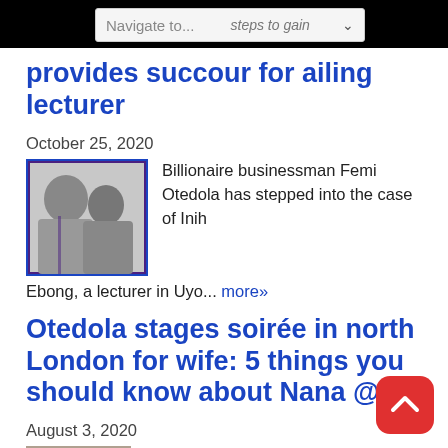Navigate to...
provides succour for ailing lecturer
October 25, 2020
[Figure (photo): Photo collage of two men, one in white shirt and one in suit, with a purple border]
Billionaire businessman Femi Otedola has stepped into the case of Inih Ebong, a lecturer in Uyo... more»
Otedola stages soirée in north London for wife: 5 things you should know about Nana @ 50
August 3, 2020
[Figure (photo): Photo of a woman and a man]
Billionaire mogul behind Geregu Power PLC Femi...